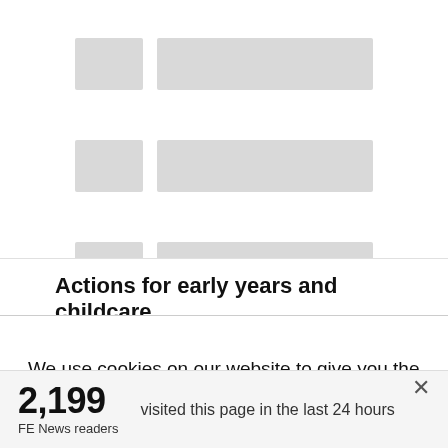[Figure (other): Three skeleton placeholder rows, each with a small grey rectangle on the left and a larger grey rectangle on the right, representing loading content placeholders.]
Actions for early years and childcare
We use cookies on our website to give you the most relevant experience by remembering your preferences and repeat visits. By clicking “Accept”, you consent to the use of ALL the cookies. However you may visit Cookie
2,199 FE News readers visited this page in the last 24 hours